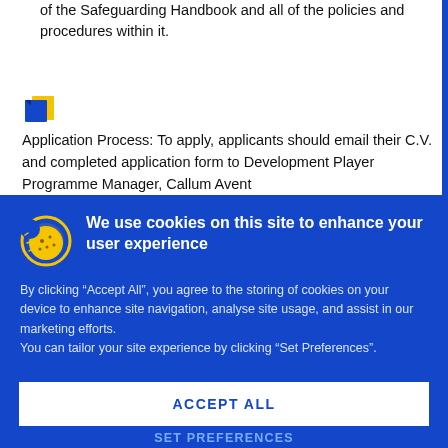of the Safeguarding Handbook and all of the policies and procedures within it.
[Figure (illustration): Small file/document icon in blue and yellow]
Application Process: To apply, applicants should email their C.V. and completed application form to Development Player Programme Manager, Callum Avent
We use cookies on this site to enhance your user experience
By clicking “Accept All”, you agree to the storing of cookies on your device to enhance site navigation, analyse site usage, and assist in our marketing efforts.
You can tailor your site experience by clicking “Set Preferences”.
ACCEPT ALL
SET PREFERENCES